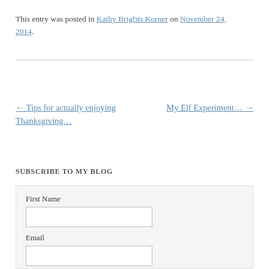This entry was posted in Kathy Brights Korner on November 24, 2014.
← Tips for actually enjoying Thanksgiving...
My Elf Experiment... →
SUBSCRIBE TO MY BLOG
First Name
Email